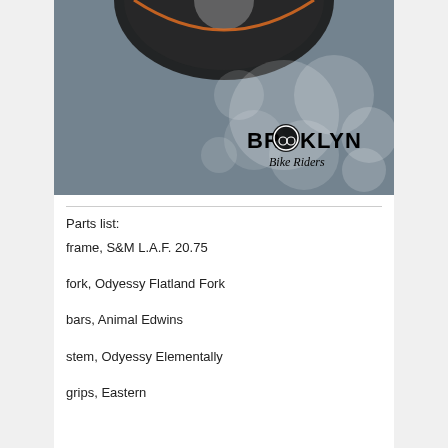[Figure (photo): Photo of a BMX bike wheel/tire with 'Brooklyn Bike Riders' logo overlay on a grey asphalt background]
Parts list:
frame, S&M L.A.F. 20.75
fork, Odyessy Flatland Fork
bars, Animal Edwins
stem, Odyessy Elementally
grips, Eastern